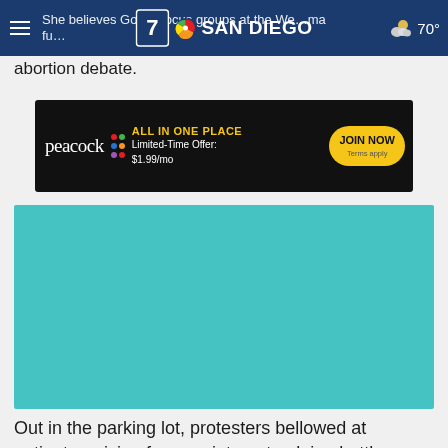NBC 7 San Diego — She believes God … at the We … ma … | abortion debate.
[Figure (screenshot): NBC 7 San Diego navigation bar with hamburger menu, channel 7 NBC logo, and weather showing 70°]
[Figure (other): Peacock advertisement: ALL IN ONE PLACE, Limited-Time Offer: $1.99/mo, JOIN NOW, Terms apply]
abortion debate.
[Figure (photo): Teal/blue-green colored video placeholder image]
Out in the parking lot, protesters bellowed at patients arriving for appointments, doing battle against what they regard as a